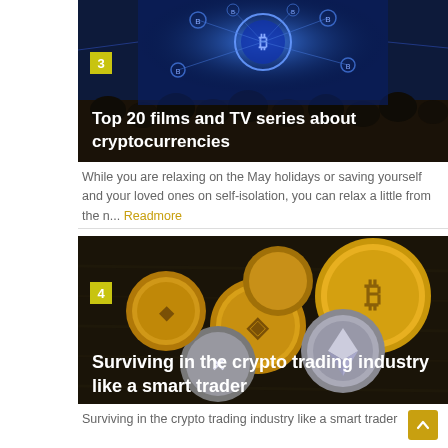[Figure (photo): Cinema/theater with cryptocurrency Bitcoin network visualization on screen, numbered badge '3' in yellow]
Top 20 films and TV series about cryptocurrencies
While you are relaxing on the May holidays or saving yourself and your loved ones on self-isolation, you can relax a little from the n... Readmore
[Figure (photo): Gold and silver cryptocurrency coins (Bitcoin, Ethereum, XRP, etc.) on a dark wooden surface, numbered badge '4' in yellow]
Surviving in the crypto trading industry like a smart trader
Surviving in the crypto trading industry like a smart trader